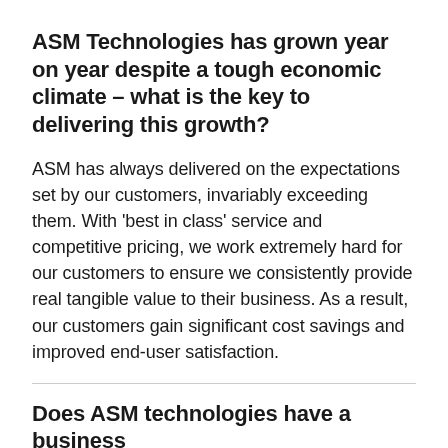ASM Technologies has grown year on year despite a tough economic climate – what is the key to delivering this growth?
ASM has always delivered on the expectations set by our customers, invariably exceeding them. With 'best in class' service and competitive pricing, we work extremely hard for our customers to ensure we consistently provide real tangible value to their business. As a result, our customers gain significant cost savings and improved end-user satisfaction.
Does ASM technologies have a business